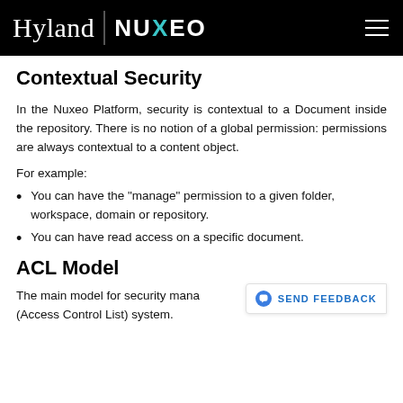Hyland | NUXEO
Contextual Security
In the Nuxeo Platform, security is contextual to a Document inside the repository. There is no notion of a global permission: permissions are always contextual to a content object.
For example:
You can have the "manage" permission to a given folder, workspace, domain or repository.
You can have read access on a specific document.
ACL Model
The main model for security mana… ACL (Access Control List) system.